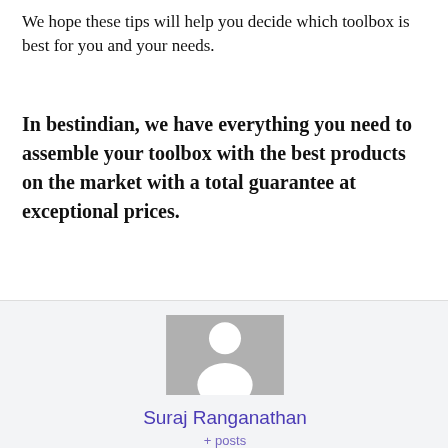We hope these tips will help you decide which toolbox is best for you and your needs.
In bestindian, we have everything you need to assemble your toolbox with the best products on the market with a total guarantee at exceptional prices.
[Figure (illustration): Generic user avatar placeholder image — grey square with white silhouette of a person (head circle and shoulders shape)]
Suraj Ranganathan
+ posts